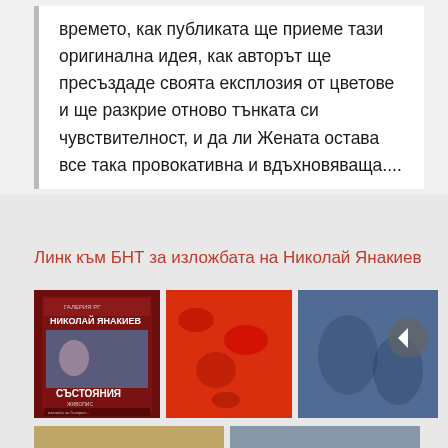времето, как публиката ще приеме тази оригинална идея, как авторът ще пресъздаде своята експлозия от цветове и ще разкрие отново тънката си чувствителност, и да ли Жената остава все така провокативна и вдъхновяваща....
Линк към БНТ за изложбата на Николай Янакиев
[Figure (photo): Book/poster cover for Nikolay Yanakiev exhibition 'Состояния' with colorful artwork on dark red background]
[Figure (photo): Abstract painting dominated by red tones with scattered blue and dark marks]
[Figure (photo): Abstract painting with blue/purple tones and colorful dotted texture, with a back arrow UI element overlaid]
[Figure (photo): Partial view of another artwork at the bottom left]
[Figure (photo): Partial view of another artwork at the bottom right]